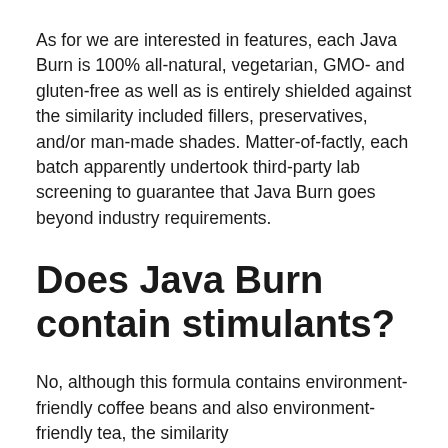As for we are interested in features, each Java Burn is 100% all-natural, vegetarian, GMO- and gluten-free as well as is entirely shielded against the similarity included fillers, preservatives, and/or man-made shades. Matter-of-factly, each batch apparently undertook third-party lab screening to guarantee that Java Burn goes beyond industry requirements.
Does Java Burn contain stimulants?
No, although this formula contains environment-friendly coffee beans and also environment-friendly tea, the similarity